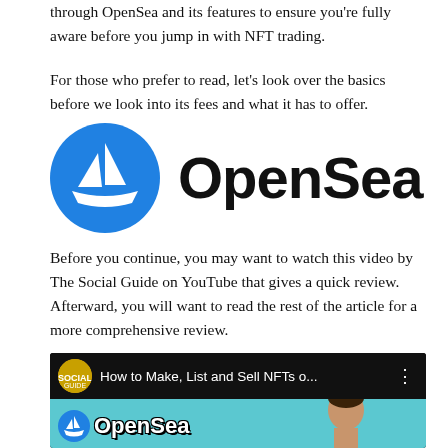through OpenSea and its features to ensure you're fully aware before you jump in with NFT trading.
For those who prefer to read, let's look over the basics before we look into its fees and what it has to offer.
[Figure (logo): OpenSea logo: blue circle with white sailboat icon on the left, and the word 'OpenSea' in bold black text on the right.]
Before you continue, you may want to watch this video by The Social Guide on YouTube that gives a quick review. Afterward, you will want to read the rest of the article for a more comprehensive review.
[Figure (screenshot): YouTube video thumbnail showing 'How to Make, List and Sell NFTs o...' by The Social Guide channel, with OpenSea logo and a person's face visible.]